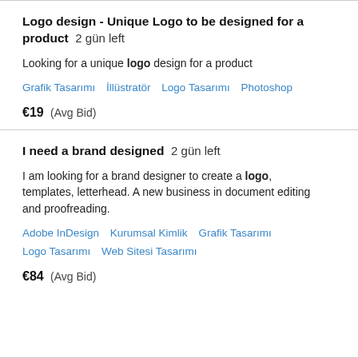Logo design - Unique Logo to be designed for a product  2 gün left
Looking for a unique logo design for a product
Grafik Tasarımı   İllüstratör   Logo Tasarımı   Photoshop
€19  (Avg Bid)
I need a brand designed  2 gün left
I am looking for a brand designer to create a logo, templates, letterhead. A new business in document editing and proofreading.
Adobe InDesign   Kurumsal Kimlik   Grafik Tasarımı   Logo Tasarımı   Web Sitesi Tasarımı
€84  (Avg Bid)